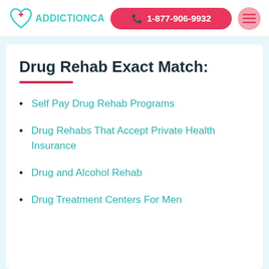[Figure (logo): AddictionCA logo with teal heart and red cross icon, teal text ADDICTIONCA]
1-877-906-9932
Drug Rehab Exact Match:
Self Pay Drug Rehab Programs
Drug Rehabs That Accept Private Health Insurance
Drug and Alcohol Rehab
Drug Treatment Centers For Men